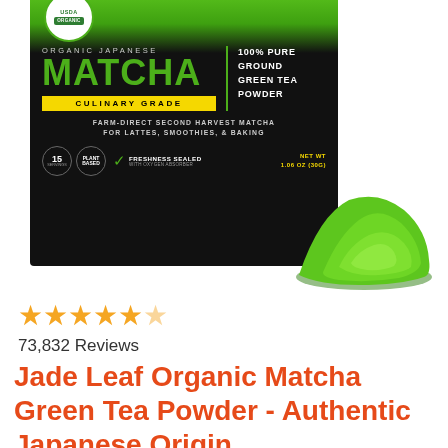[Figure (photo): Product photo of Jade Leaf Organic Japanese Matcha green tea powder bag with USDA Organic seal, green and black packaging showing 'CULINARY GRADE', 'FARM-DIRECT SECOND HARVEST MATCHA FOR LATTES, SMOOTHIES, & BAKING', 'FRESHNESS SEALED WITH OXYGEN ABSORBER', NET WT 1.06 OZ (30g). A pile of bright green matcha powder sits in front of the bag.]
★★★★½
73,832 Reviews
Jade Leaf Organic Matcha Green Tea Powder - Authentic Japanese Origin